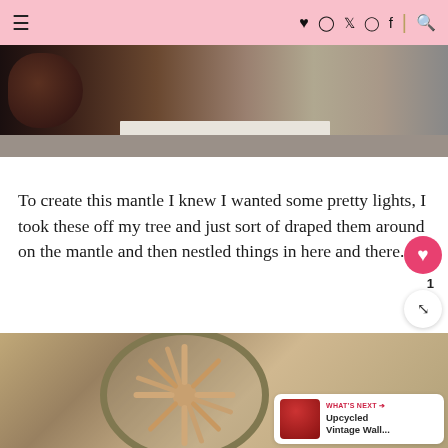Navigation header with hamburger menu and social icons (heart, instagram, twitter, pinterest, facebook, search)
[Figure (photo): Top portion of a photo showing a dark leather chair beside a white baseboard heater on grey/beige carpet]
To create this mantle I knew I wanted some pretty lights, I took these off my tree and just sort of draped them around on the mantle and then nestled things in here and there.
[Figure (photo): Photo of a round mirror on a wall with a sunburst/starburst decoration made of rolled paper or wood pieces arranged around it. A 'What's Next' badge in the bottom right corner shows 'Upcycled Vintage Wall...']